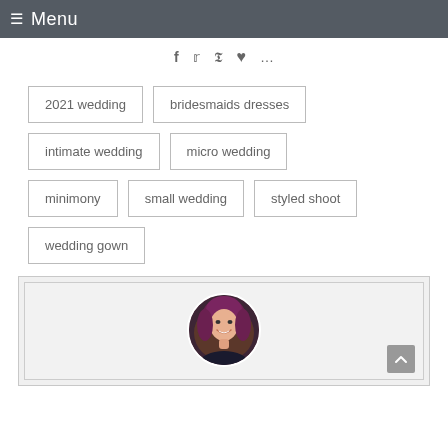≡ Menu
f  t  p  ♥  ...
2021 wedding
bridesmaids dresses
intimate wedding
micro wedding
minimony
small wedding
styled shoot
wedding gown
[Figure (photo): Author profile card with circular headshot of a woman with purple/dark red hair, smiling, with dark background. Card has a back-to-top chevron button in bottom right.]